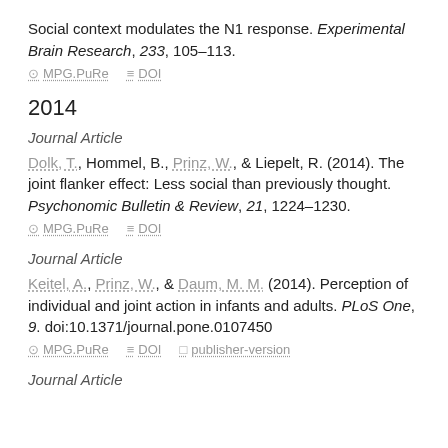Social context modulates the N1 response. Experimental Brain Research, 233, 105–113.
MPG.PuRe   DOI
2014
Journal Article
Dolk, T., Hommel, B., Prinz, W., & Liepelt, R. (2014). The joint flanker effect: Less social than previously thought. Psychonomic Bulletin & Review, 21, 1224–1230.
MPG.PuRe   DOI
Journal Article
Keitel, A., Prinz, W., & Daum, M. M. (2014). Perception of individual and joint action in infants and adults. PLoS One, 9. doi:10.1371/journal.pone.0107450
MPG.PuRe   DOI   publisher-version
Journal Article